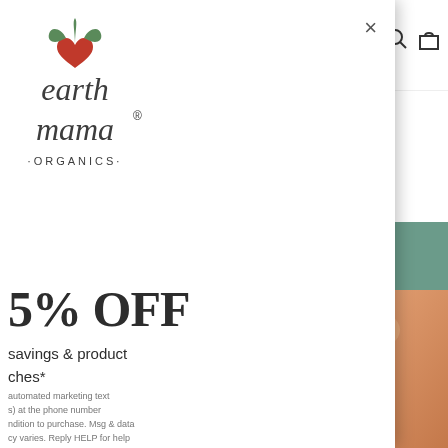[Figure (screenshot): Earth Mama Organics website screenshot showing a modal popup overlay with logo, discount offer, and legal text on the left, and the main website with logo, search/cart icons, free shipping banner, and product images on the right]
× close button
[Figure (logo): Earth Mama Organics logo in modal - red heart with green leaves above stylized text 'earth mama ORGANICS']
5% OFF
savings & product
ches*
automated marketing text
s) at the phone number
ndition to purchase. Msg & data
cy varies. Reply HELP for help
Privacy Policy and Terms of
[Figure (logo): Earth Mama Organics main site logo - red heart with green leaves above stylized text 'earth mama ORGANICS']
FREE SHIPPING
On orders over $75*
[Figure (photo): Earth Mama Organics Milkmaid Tea product box - green floral illustrated box with 'earth mama ORGANICS 100% ORGANIC Milkmaid Tea Helps Support Breast Milk Production*' text]
[Figure (photo): Partial product image on far right showing orange/terracotta colored product]